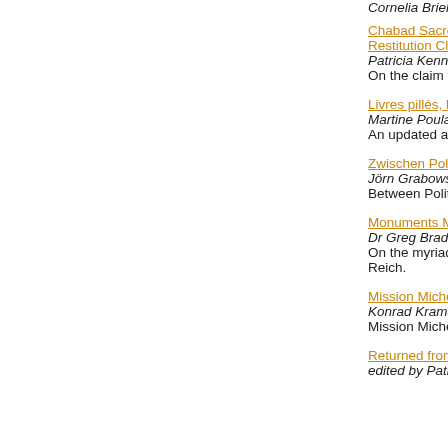Cornelia Briel - December 2013
Chabad Sacred Texts, Russian-American Art Loan... Restitution Claim?
Patricia Kennedy Grimsted - December 2013
On the claim for the Schneersohn 'Library' and 'Ar...
Livres pillés, lectures surveillées: Les bibliothèque...
Martine Poulain - November 2013
An updated and revised version of Martine Poulain...
Zwischen Politik und Kunst: Die Staatlichen Muse...
Jörn Grabowski, Petra Winter (eds) - October 2013
Between Politics and Art: The State Museums of B...
Monuments Men and Nazi Treasures
Dr Greg Bradsher - October 2013
On the myriad problems faced by US Occupation... Reich.
Mission Michelangelo. Wie die Bergleute von Altau...
Konrad Kramar - September 2013
Mission Michelangelo: How the Miners of Altausse...
Returned from Russia: Nazi Archival Plunder in W...
edited by Patricia Kennedy Grimsted, F.J. Hoogew...